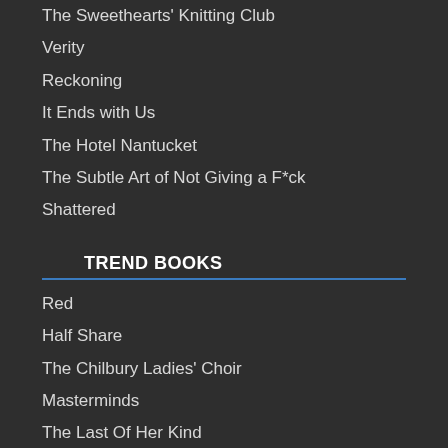The Sweethearts' Knitting Club
Verity
Reckoning
It Ends with Us
The Hotel Nantucket
The Subtle Art of Not Giving a F*ck
Shattered
TREND BOOKS
Red
Half Share
The Chilbury Ladies' Choir
Masterminds
The Last Of Her Kind